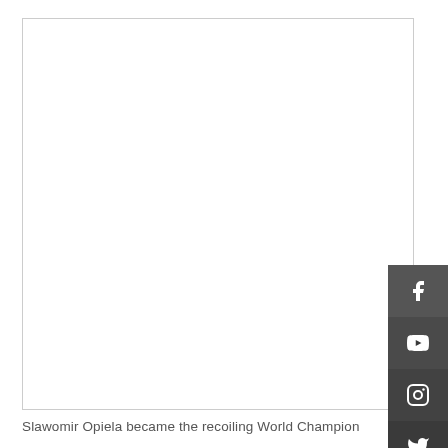[Figure (other): Large white/blank rectangular area with a light gray border, representing an image or media placeholder]
[Figure (other): Social media sidebar buttons on the right side: Facebook, YouTube, Instagram, Twitter icons in dark gray squares]
Slawomir Opiela became the recoiling World Champion